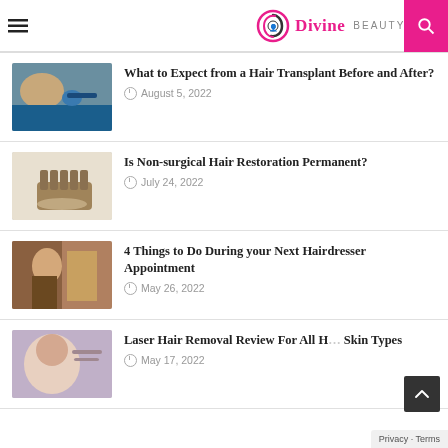Divine Beauty Tips
What to Expect from a Hair Transplant Before and After? — August 5, 2022
Is Non-surgical Hair Restoration Permanent? — July 24, 2022
4 Things to Do During your Next Hairdresser Appointment — May 26, 2022
Laser Hair Removal Review For All H... Skin Types — May 17, 2022